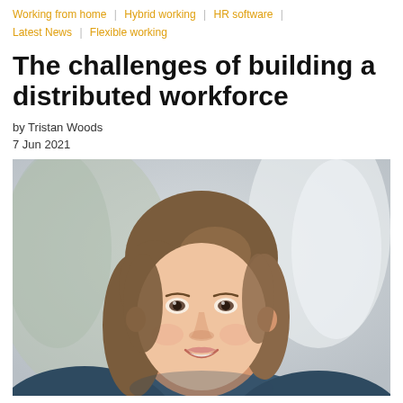Working from home | Hybrid working | HR software | Latest News | Flexible working
The challenges of building a distributed workforce
by Tristan Woods
7 Jun 2021
[Figure (photo): Portrait photo of a woman with shoulder-length brown hair, smiling, with a blurred outdoor background.]